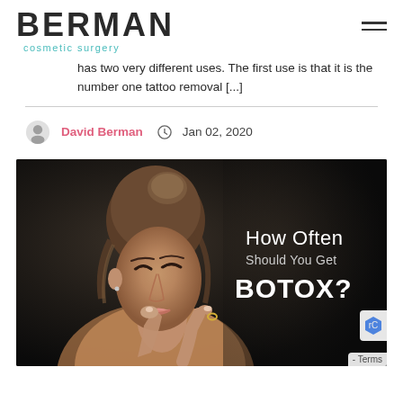BERMAN cosmetic surgery
has two very different uses. The first use is that it is the number one tattoo removal [...]
David Berman   Jan 02, 2020
[Figure (photo): A woman with eyes closed, hand on chin, against a dark background with overlay text: 'How Often Should You Get BOTOX?']